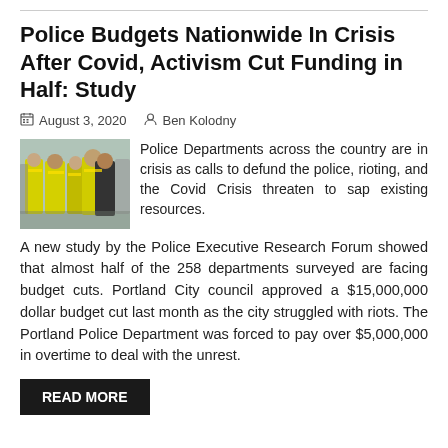Police Budgets Nationwide In Crisis After Covid, Activism Cut Funding in Half: Study
August 3, 2020   Ben Kolodny
[Figure (photo): Police officers in yellow high-visibility vests walking outdoors]
Police Departments across the country are in crisis as calls to defund the police, rioting, and the Covid Crisis threaten to sap existing resources.
A new study by the Police Executive Research Forum showed that almost half of the 258 departments surveyed are facing budget cuts. Portland City council approved a $15,000,000 dollar budget cut last month as the city struggled with riots. The Portland Police Department was forced to pay over $5,000,000 in overtime to deal with the unrest.
READ MORE